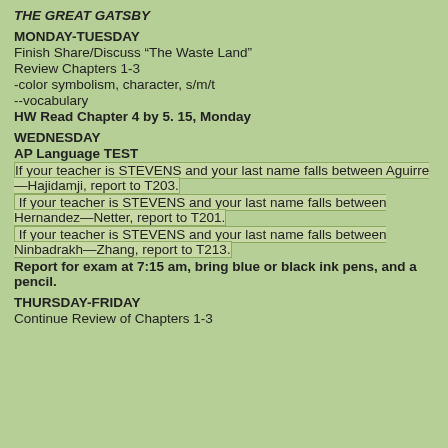THE GREAT GATSBY
MONDAY-TUESDAY
Finish Share/Discuss “The Waste Land”
Review Chapters 1-3
-color symbolism, character, s/m/t
--vocabulary
HW Read Chapter 4 by 5. 15, Monday
WEDNESDAY
AP Language TEST
If your teacher is STEVENS and your last name falls between Aguirre—Hajidamji, report to T203.
If your teacher is STEVENS and your last name falls between Hernandez—Netter, report to T201.
If your teacher is STEVENS and your last name falls between Ninbadrakh—Zhang, report to T213.
Report for exam at 7:15 am, bring blue or black ink pens, and a pencil.
THURSDAY-FRIDAY
Continue Review of Chapters 1-3